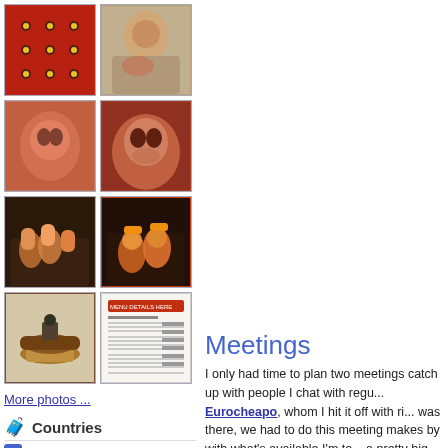[Figure (photo): Grid of 8 thumbnail photos: top row has red pegboard photo and child photo; second row has warm-toned child closeups; third row has party scene photos; fourth row has food photo and document/menu image]
More photos ...
Countries
Australia (3)
Canada (1)
Meetings
I only had time to plan two meetings catch up with people I chat with regu... Eurocheapo, whom I hit it off with ri... was there, we had to do this meeting makes by with what's available I'm to... a pretty big travel website. Sound fa...